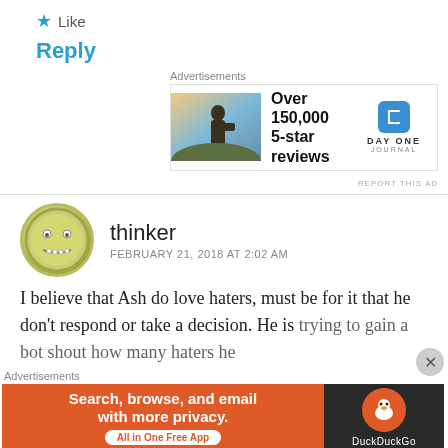★ Like
Reply
Advertisements
[Figure (photo): Ad banner: Person photographing sunset, DayOne Journal app, 'Over 150,000 5-star reviews']
REPORT THIS AD
thinker
FEBRUARY 21, 2018 AT 2:02 AM
I believe that Ash do love haters, must be for it that he don't respond or take a decision. He is trying to gain a bot shout how many haters he
Advertisements
[Figure (screenshot): Ad banner: DuckDuckGo app - 'Search, browse, and email with more privacy. All in One Free App']